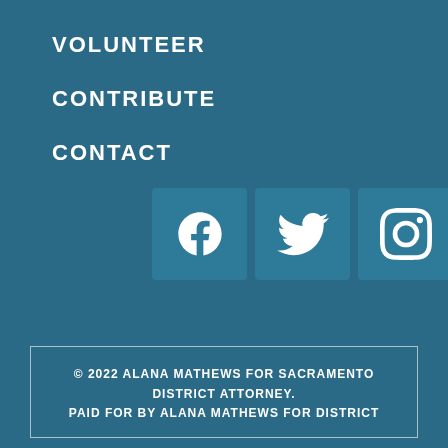VOLUNTEER
CONTRIBUTE
CONTACT
[Figure (infographic): Three social media icon buttons in rounded squares: Facebook, Twitter, Instagram]
© 2022 ALANA MATHEWS FOR SACRAMENTO DISTRICT ATTORNEY. PAID FOR BY ALANA MATHEWS FOR DISTRICT